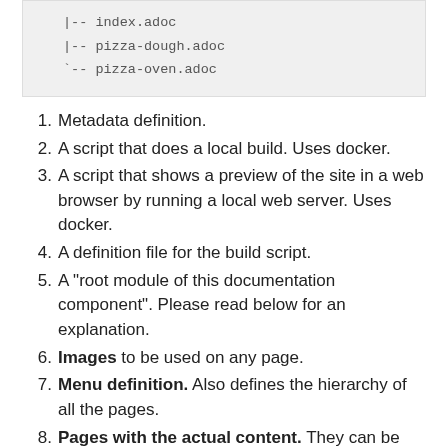[Figure (screenshot): Code block showing file tree: |-- index.adoc, |-- pizza-dough.adoc, `-- pizza-oven.adoc]
1. Metadata definition.
2. A script that does a local build. Uses docker.
3. A script that shows a preview of the site in a web browser by running a local web server. Uses docker.
4. A definition file for the build script.
5. A "root module of this documentation component". Please read below for an explanation.
6. Images to be used on any page.
7. Menu definition. Also defines the hierarchy of all the pages.
8. Pages with the actual content. They can be also organised into subdirectories if desired.
Components and Modules